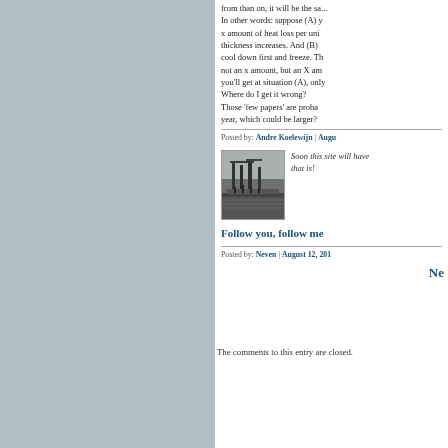from than on, it will be the sa... In other words: suppose (A) y x amount of heat loss per uni thickness increases. And (B) cool down first and freeze. Th not an x amount, but an X am you'll get at situation (A), only Where do I get it wrong? Those 'few papers' are proba year, which could be larger?
Posted by: Andre Koelewijn | Augu
[Figure (photo): Black and white photo of industrial waterfront scene with cranes or structures]
Soon this site will have... that is!
Follow you, follow me
Posted by: Neven | August 12, 201
Ne
The comments to this entry are closed.